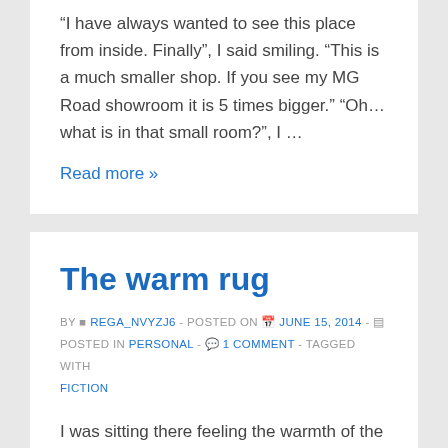“I have always wanted to see this place from inside. Finally”, I said smiling. “This is a much smaller shop. If you see my MG Road showroom it is 5 times bigger.” “Oh… what is in that small room?”, I …
Read more »
The warm rug
BY REGA_NVYZJ6 - POSTED ON JUNE 15, 2014 - POSTED IN PERSONAL - 1 COMMENT - TAGGED WITH FICTION
I was sitting there feeling the warmth of the wollen